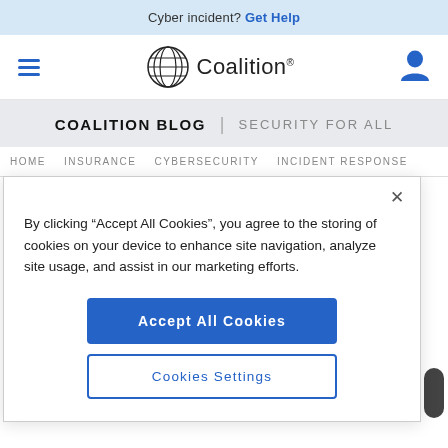Cyber incident? Get Help
[Figure (logo): Coalition logo with globe icon and wordmark 'Coalition']
COALITION BLOG | SECURITY FOR ALL
HOME  INSURANCE  CYBERSECURITY  INCIDENT RESPONSE
By clicking “Accept All Cookies”, you agree to the storing of cookies on your device to enhance site navigation, analyze site usage, and assist in our marketing efforts.
Accept All Cookies
Cookies Settings